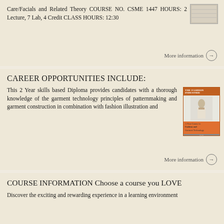Care/Facials and Related Theory COURSE NO. CSME 1447 HOURS: 2 Lecture, 7 Lab, 4 Credit CLASS HOURS: 12:30
More information →
CAREER OPPORTUNITIES INCLUDE:
This 2 Year skills based Diploma provides candidates with a thorough knowledge of the garment technology principles of patternmaking and garment construction in combination with fashion illustration and
[Figure (photo): Book cover: The Fashion Industrie - A Year Course in Fashion and Garment Technology]
More information →
COURSE INFORMATION Choose a course you LOVE
Discover the exciting and rewarding experience in a learning environment
[Figure (logo): Elation logo with female silhouette]